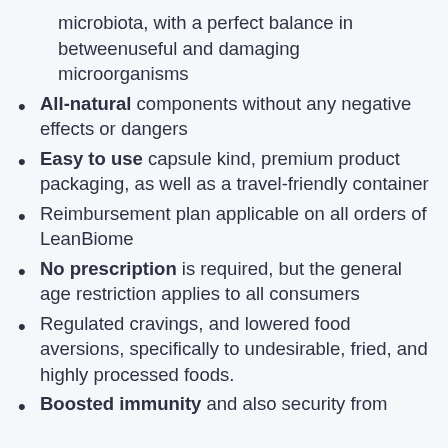microbiota, with a perfect balance in betweenuseful and damaging microorganisms
All-natural components without any negative effects or dangers
Easy to use capsule kind, premium product packaging, as well as a travel-friendly container
Reimbursement plan applicable on all orders of LeanBiome
No prescription is required, but the general age restriction applies to all consumers
Regulated cravings, and lowered food aversions, specifically to undesirable, fried, and highly processed foods.
Boosted immunity and also security from